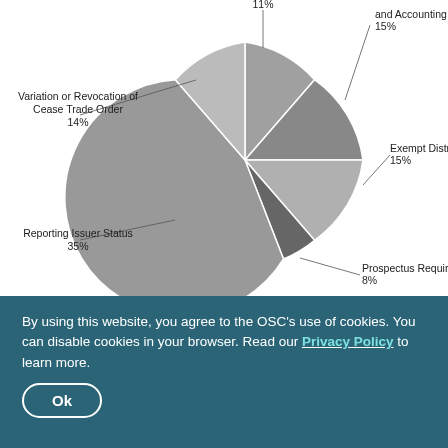[Figure (pie-chart): Applications by category]
Trends and guidance
The number of applications received in fiscal 2016 was substantially lower than the prior fiscal year as a result of a significant number of one-time participation fee relief applications received in fiscal 2015. Excluding those fee applications, the number of applications in
By using this website, you agree to the OSC's use of cookies. You can disable cookies in your browser. Read our Privacy Policy to learn more.